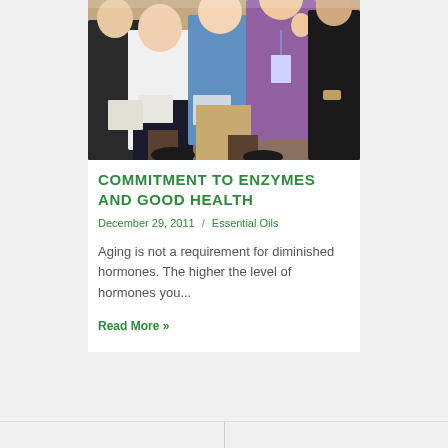[Figure (photo): People sitting in rows at a conference or seminar, holding notebooks and badges, photographed from a low angle showing their laps and torsos.]
COMMITMENT TO ENZYMES AND GOOD HEALTH
December 29, 2011 / Essential Oils
Aging is not a requirement for diminished hormones. The higher the level of hormones you...
Read More »